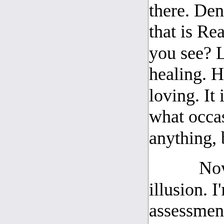there. Denial, especially if you are denying something that is Real is a form of aggression, it's an attack. Do you see? Love is never an attack and it is always healing. Hate, or denial is an attack and it is never loving. It is, therefore, never healing. So you tell me what occasion there might legitimately be, to ever do anything, but love everything?

Now understand that I am not saying: love an illusion. I'm saying: withdraw the judgment or the assessment that what you're looking at is an illusion, and be willing to love whatever is there that might be Real. It is that act of faith, you might say, it is that act of faith that there is something Real there, divinely Real, and therefore unconflicted, that allows for, in Biblical terms: "the scales fall from your eyes": from your eyes